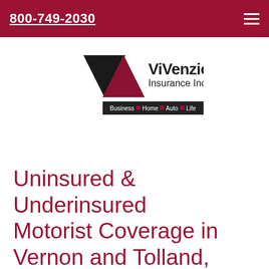800-749-2030
[Figure (logo): ViVenzio Insurance Inc. logo with black downward triangle and dark red upward triangle, text 'ViVenzio Insurance Inc.' beside it, with navigation bar showing Business, Home, Auto, Life]
Uninsured & Underinsured Motorist Coverage in Vernon and Tolland, CT